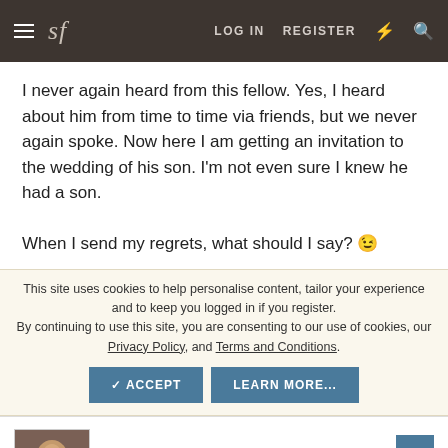sf  LOG IN  REGISTER
I never again heard from this fellow. Yes, I heard about him from time to time via friends, but we never again spoke. Now here I am getting an invitation to the wedding of his son. I'm not even sure I knew he had a son.

When I send my regrets, what should I say? 😉
This site uses cookies to help personalise content, tailor your experience and to keep you logged in if you register.
By continuing to use this site, you are consenting to our use of cookies, our Privacy Policy, and Terms and Conditions.
ValidusLA
Distinguished Member  Supporting Member
Jan 17, 2022
#108,782